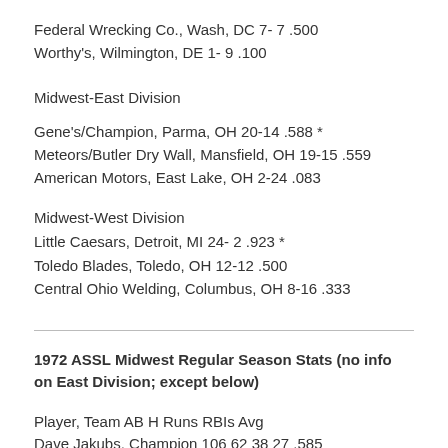Federal Wrecking Co., Wash, DC 7- 7 .500
Worthy's, Wilmington, DE 1- 9 .100
Midwest-East Division
Gene's/Champion, Parma, OH 20-14 .588 *
Meteors/Butler Dry Wall, Mansfield, OH 19-15 .559
American Motors, East Lake, OH 2-24 .083
Midwest-West Division
Little Caesars, Detroit, MI 24- 2 .923 *
Toledo Blades, Toledo, OH 12-12 .500
Central Ohio Welding, Columbus, OH 8-16 .333
1972 ASSL Midwest Regular Season Stats (no info on East Division; except below)
Player, Team AB H Runs RBIs Avg
Dave Jakubs, Champion 106 62 38 27 .585